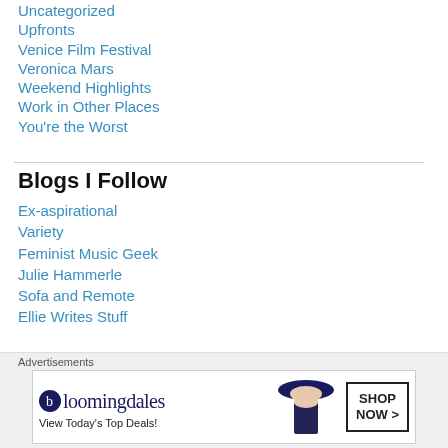Uncategorized
Upfronts
Venice Film Festival
Veronica Mars
Weekend Highlights
Work in Other Places
You're the Worst
Blogs I Follow
Ex-aspirational
Variety
Feminist Music Geek
Julie Hammerle
Sofa and Remote
Ellie Writes Stuff
[Figure (other): Bloomingdales advertisement banner: 'View Today's Top Deals! SHOP NOW >']